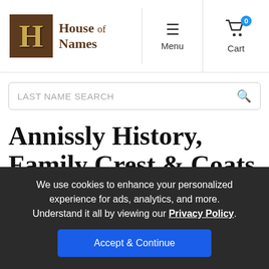House of Names — Menu — Cart 0
LAST NAME SEARCH
Annissly History, Family Crest & Coats of Arms
We use cookies to enhance your personalized experience for ads, analytics, and more. Understand it all by viewing our Privacy Policy.
Accept & Continue